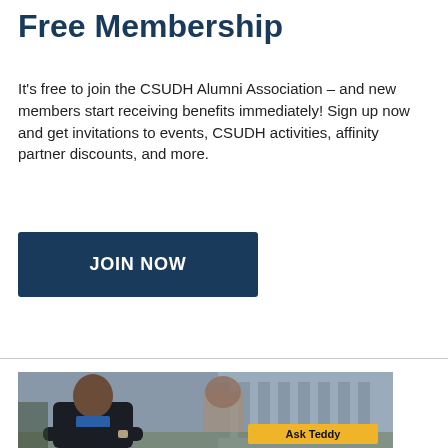Free Membership
It's free to join the CSUDH Alumni Association – and new members start receiving benefits immediately! Sign up now and get invitations to events, CSUDH activities, affinity partner discounts, and more.
JOIN NOW
[Figure (photo): A young man in a dark jacket and blue shirt seated outdoors in front of a bronze bust sculpture on a pedestal, with a university building in the background. An 'Ask Teddy' button appears in the lower right of the image.]